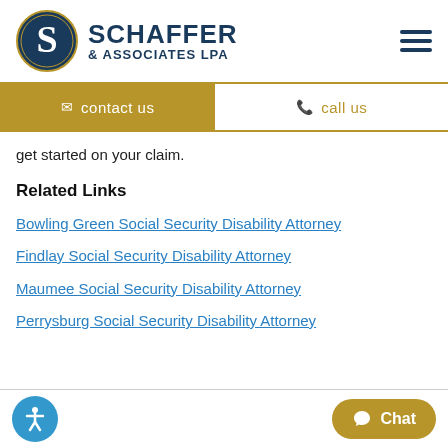[Figure (logo): Schaffer & Associates LPA logo with circular S emblem and firm name text]
contact us
call us
get started on your claim.
Related Links
Bowling Green Social Security Disability Attorney
Findlay Social Security Disability Attorney
Maumee Social Security Disability Attorney
Perrysburg Social Security Disability Attorney